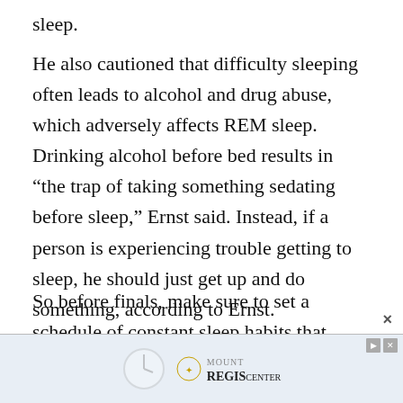sleep.
He also cautioned that difficulty sleeping often leads to alcohol and drug abuse, which adversely affects REM sleep. Drinking alcohol before bed results in “the trap of taking something sedating before sleep,” Ernst said. Instead, if a person is experiencing trouble getting to sleep, he should just get up and do something, according to Ernst.
So before finals, make sure to set a schedule of constant sleep habits that includes more than seven hours of sleep per night. While it might not sound exciting or be as quick of a
[Figure (other): Advertisement banner for Mount Regis Center featuring a clock graphic and logo with navigation controls]